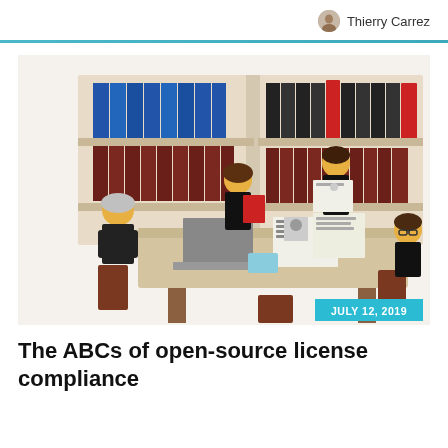Thierry Carrez
[Figure (photo): LEGO minifigures of lawyers/professionals sitting around a table with bookshelves in the background, featuring blue and dark books on shelves, a laptop, and documents on the table. Date badge reads JULY 12, 2019.]
The ABCs of open-source license compliance